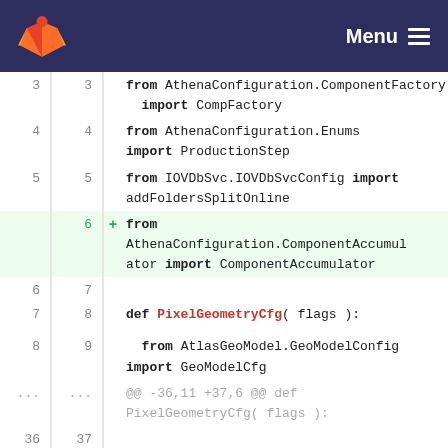Menu
3  3  from AthenaConfiguration.ComponentFactory import CompFactory
4  4  from AthenaConfiguration.Enums import ProductionStep
5  5  from IOVDbSvc.IOVDbSvcConfig import addFoldersSplitOnline
+ 6  from AthenaConfiguration.ComponentAccumulator import ComponentAccumulator
6  7  (blank)
7  8  def PixelGeometryCfg( flags ):
8  9  from AtlasGeoModel.GeoModelConfig import GeoModelCfg
... ...  @@ -36,11 +37,6 @@ def PixelGeometryCfg( flags ):
36  37  acc.merge(addFoldersSplitOnline(flags,"INDET","/Indet/Onl/Align","/Indet/Align"))